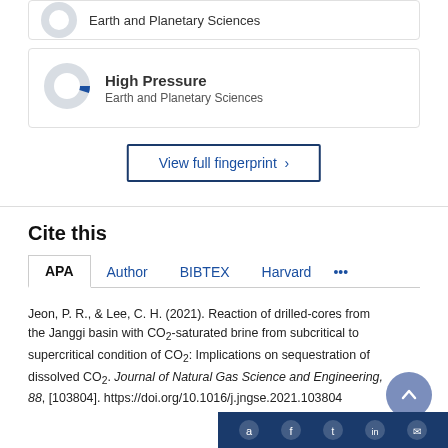[Figure (donut-chart): Partial donut chart for Earth and Planetary Sciences (top, cut off)]
Earth and Planetary Sciences
[Figure (donut-chart): Donut chart showing approximately 30% fill in blue for High Pressure]
High Pressure
Earth and Planetary Sciences
View full fingerprint >
Cite this
APA | Author | BIBTEX | Harvard | ...
Jeon, P. R., & Lee, C. H. (2021). Reaction of drilled-cores from the Janggi basin with CO2-saturated brine from subcritical to supercritical condition of CO2: Implications on sequestration of dissolved CO2. Journal of Natural Gas Science and Engineering, 88, [103804]. https://doi.org/10.1016/j.jngse.2021.103804